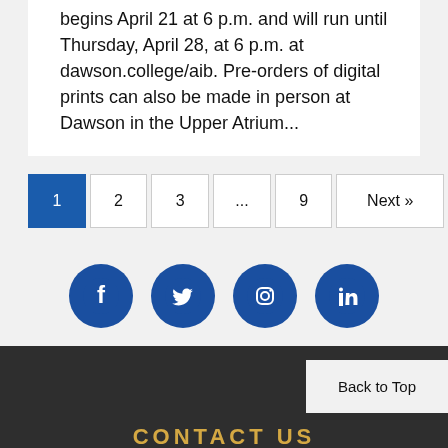begins April 21 at 6 p.m. and will run until Thursday, April 28, at 6 p.m. at dawson.college/aib. Pre-orders of digital prints can also be made in person at Dawson in the Upper Atrium...
1 2 3 ... 9 Next »
[Figure (infographic): Social media icons: Facebook, Twitter, Instagram, LinkedIn — all blue circles with white icons]
Back to Top
CONTACT US